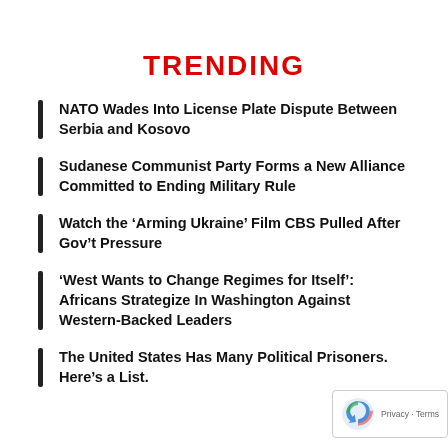TRENDING
NATO Wades Into License Plate Dispute Between Serbia and Kosovo
Sudanese Communist Party Forms a New Alliance Committed to Ending Military Rule
Watch the ‘Arming Ukraine’ Film CBS Pulled After Gov’t Pressure
‘West Wants to Change Regimes for Itself’: Africans Strategize In Washington Against Western-Backed Leaders
The United States Has Many Political Prisoners. Here’s a List.